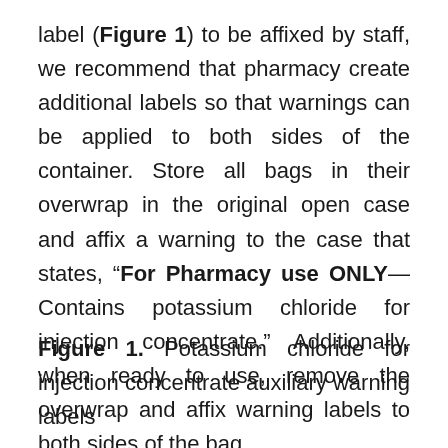label (Figure 1) to be affixed by staff, we recommend that pharmacy create additional labels so that warnings can be applied to both sides of the container. Store all bags in their overwrap in the original open case and affix a warning to the case that states, “For Pharmacy use ONLY—Contains potassium chloride for injection concentrate.” Additionally, when ready to use, remove the overwrap and affix warning labels to both sides of the bag.
Figure 1. Potassium chloride for injection concentrate auxiliary warning labels